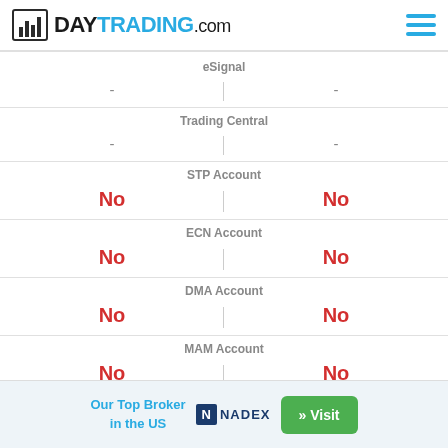DayTrading.com
|  | eSignal |  |
| --- | --- | --- |
| - |  | - |
| Trading Central |  |  |
| - |  | - |
| STP Account |  |  |
| No |  | No |
| ECN Account |  |  |
| No |  | No |
| DMA Account |  |  |
| No |  | No |
| MAM Account |  |  |
| No |  | No |
Our Top Broker in the US » Visit NADEX